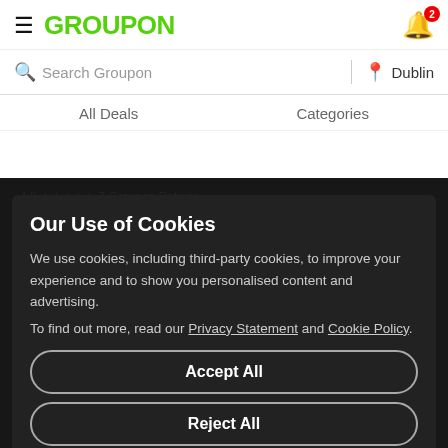GROUPON
Search Groupon   Dublin
All Deals   Categories
Our Use of Cookies
We use cookies, including third-party cookies, to improve your experience and to show you personalised content and advertising.
To find out more, read our Privacy Statement and Cookie Policy.
Accept All
Reject All
My Options